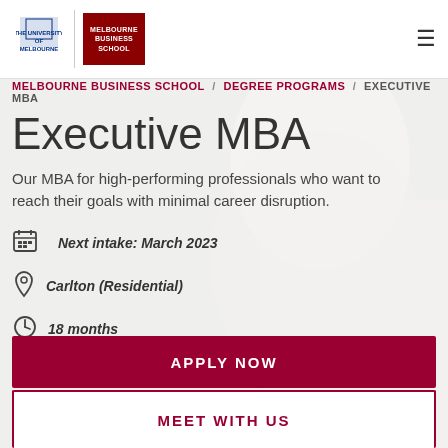[Figure (logo): University of Melbourne and Melbourne Business School logos]
MELBOURNE BUSINESS SCHOOL / DEGREE PROGRAMS / EXECUTIVE MBA
Executive MBA
Our MBA for high-performing professionals who want to reach their goals with minimal career disruption.
Next intake: March 2023
Carlton (Residential)
18 months
APPLY NOW
MEET WITH US